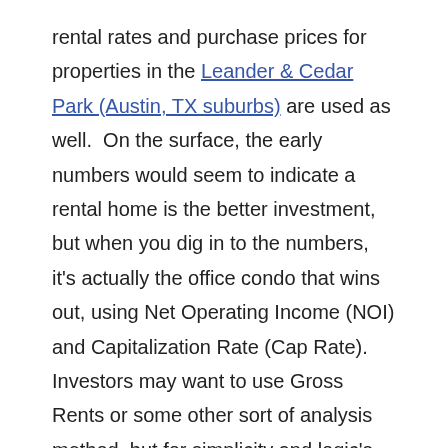rental rates and purchase prices for properties in the Leander & Cedar Park (Austin, TX suburbs) are used as well.  On the surface, the early numbers would seem to indicate a rental home is the better investment, but when you dig in to the numbers, it's actually the office condo that wins out, using Net Operating Income (NOI) and Capitalization Rate (Cap Rate).  Investors may want to use Gross Rents or some other sort of analysis method, but for simplicity and logic's sake, I'm using NOI & Cap Rate to illustrate the bottom line.  In addition to the numbers ultimately favoring the office condo, there are some intangibles (not so small) that factor in, too.  Things like, squatter's rights, animal/pet damage, spilled drinks and markers on walls, carpet replacement, dead yards, incessant repainting, etc.  The fact is, office users are